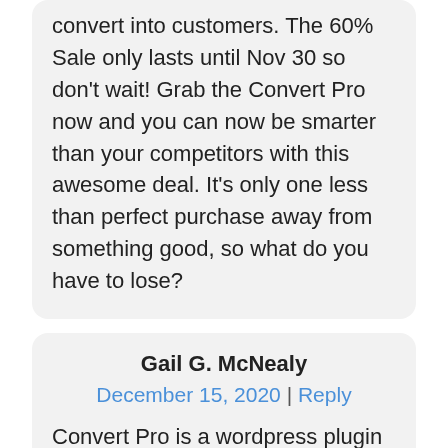convert into customers. The 60% Sale only lasts until Nov 30 so don't wait! Grab the Convert Pro now and you can now be smarter than your competitors with this awesome deal. It's only one less than perfect purchase away from something good, so what do you have to lose?
Gail G. McNealy
December 15, 2020 | Reply
Convert Pro is a wordpress plugin that